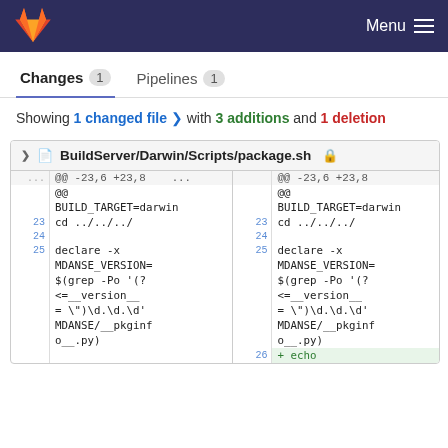Menu
Changes 1   Pipelines 1
Showing 1 changed file with 3 additions and 1 deletion
BuildServer/Darwin/Scripts/package.sh
... @@ -23,6 +23,8 ... @@ -23,6 +23,8
@@ @@
BUILD_TARGET=darwin BUILD_TARGET=darwin
23 cd ../../../  23 cd ../../../
24                 24
25 declare -x     25 declare -x
MDANSE_VERSION= MDANSE_VERSION=
$(grep -Po '(? $(grep -Po '(?
<=__version__ <=__version__
= ")\d.\d.\d' = ")\d.\d.\d'
MDANSE/__pkginf MDANSE/__pkginf
o__.py)        o__.py)
26              + echo